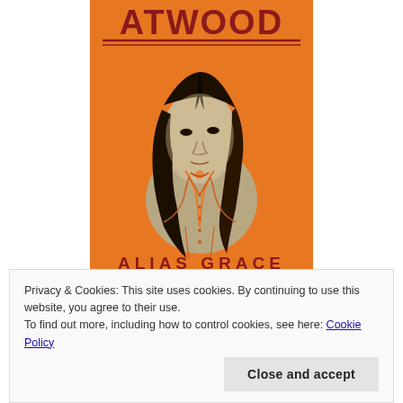[Figure (illustration): Book cover of 'Alias Grace' by Margaret Atwood. Orange background with a sepia-tone portrait of a Victorian woman with long dark hair. Title 'ALIAS GRACE' in large letters with quote: 'Explosive mixture of murder, sex, and class conflict' Daily Mail.]
I'm also exciting to read more Margaret Atwood, and I hope to get
Privacy & Cookies: This site uses cookies. By continuing to use this website, you agree to their use.
To find out more, including how to control cookies, see here: Cookie Policy
Close and accept